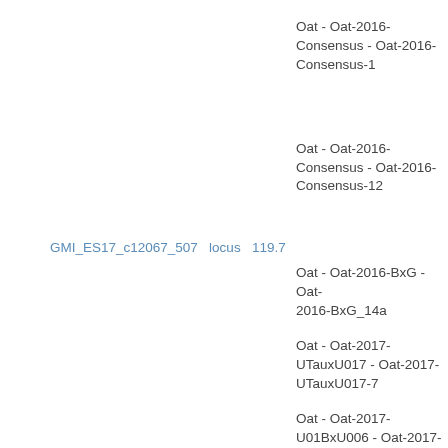Oat - Oat-2016-Consensus - Oat-2016-Consensus-1
Oat - Oat-2016-Consensus - Oat-2016-Consensus-12
GMI_ES17_c12067_507   locus   119.7
Oat - Oat-2016-BxG - Oat-2016-BxG_14a
Oat - Oat-2017-UTauxU017 - Oat-2017-UTauxU017-7
Oat - Oat-2017-U01BxU006 - Oat-2017-U01BxU006-7
Oat - Oat-2016-PxB - Oat-2016-PxB_5
Oat - Avena_2013_SNP - Avena_2013_SNP_5C